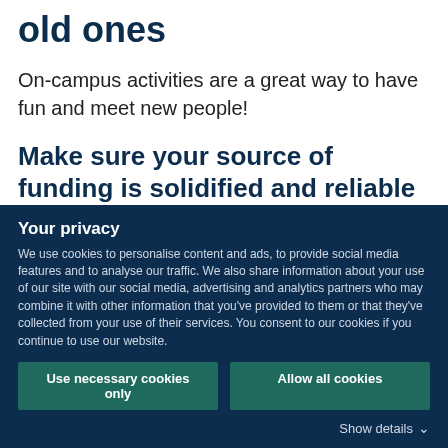old ones
On-campus activities are a great way to have fun and meet new people!
Make sure your source of funding is solidified and reliable
The last thing you want to worry about during your first few months abroad is whether or not you can afford food
Your privacy
We use cookies to personalise content and ads, to provide social media features and to analyse our traffic. We also share information about your use of our site with our social media, advertising and analytics partners who may combine it with other information that you've provided to them or that they've collected from your use of their services. You consent to our cookies if you continue to use our website.
Use necessary cookies only
Allow all cookies
Show details